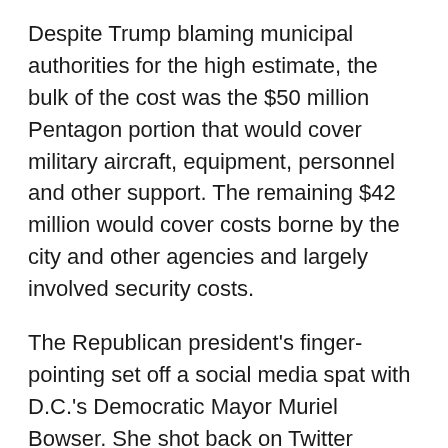Despite Trump blaming municipal authorities for the high estimate, the bulk of the cost was the $50 million Pentagon portion that would cover military aircraft, equipment, personnel and other support. The remaining $42 million would cover costs borne by the city and other agencies and largely involved security costs.
The Republican president's finger-pointing set off a social media spat with D.C.'s Democratic Mayor Muriel Bowser. She shot back on Twitter Friday that she was the one who "finally got thru to the reality star in the White House with the realities ($21.6M) of parades/events/demonstrations in Trump America (sad)."
District of Columbia officials called the price-gouging